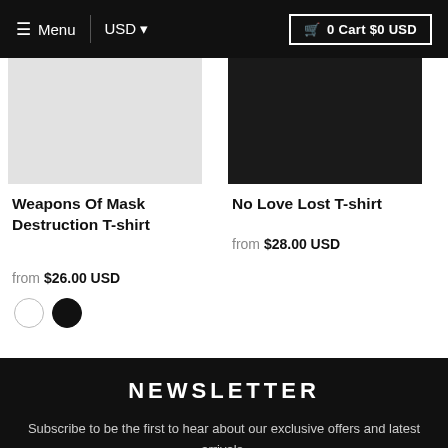≡ Menu | USD ▾  🛒 0 Cart $0 USD
[Figure (photo): Light grey product image thumbnail for Weapons Of Mask Destruction T-shirt]
Weapons Of Mask Destruction T-shirt
from $26.00 USD
[Figure (photo): Dark/black product image thumbnail for No Love Lost T-shirt]
No Love Lost T-shirt
from $28.00 USD
NEWSLETTER
Subscribe to be the first to hear about our exclusive offers and latest arrivals.